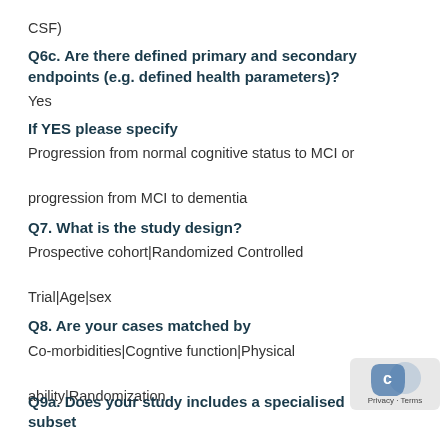CSF)
Q6c. Are there defined primary and secondary endpoints (e.g. defined health parameters)?
Yes
If YES please specify
Progression from normal cognitive status to MCI or progression from MCI to dementia
Q7. What is the study design?
Prospective cohort|Randomized Controlled Trial|Age|sex
Q8. Are your cases matched by
Co-morbidities|Cogntive function|Physical ability|Randomization
Q9a. Does your study includes a specialised subset